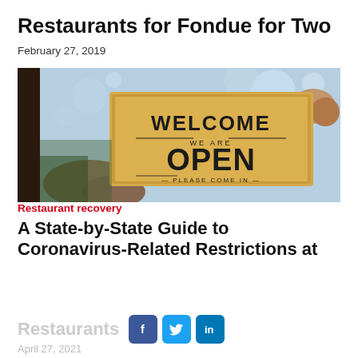Restaurants for Fondue for Two
February 27, 2019
[Figure (photo): Person holding a wooden 'WELCOME WE ARE OPEN PLEASE COME IN' sign against a glass window, bokeh background.]
Restaurant recovery
A State-by-State Guide to Coronavirus-Related Restrictions at Restaurants
April 27, 2021